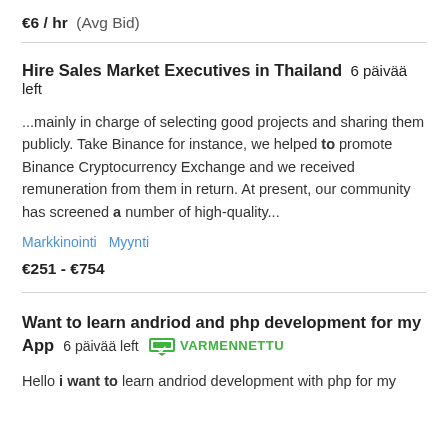€6 / hr  (Avg Bid)
Hire Sales Market Executives in Thailand  6 päivää left
...mainly in charge of selecting good projects and sharing them publicly. Take Binance for instance, we helped to promote Binance Cryptocurrency Exchange and we received remuneration from them in return. At present, our community has screened a number of high-quality...
Markkinointi   Myynti
€251 - €754
Want to learn andriod and php development for my App  6 päivää left  VARMENNETTU
Hello i want to learn andriod development with php for my